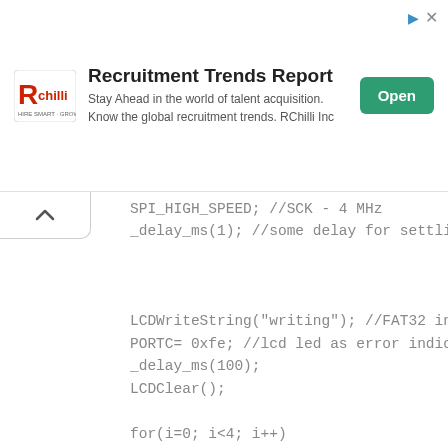[Figure (other): Advertisement banner for RChilli Recruitment Trends Report with logo, text 'Stay Ahead in the world of talent acquisition. Know the global recruitment trends. RChilli Inc', and an Open button]
SPI_HIGH_SPEED; //SCK - 4 MHz
_delay_ms(1); //some delay for settling new spi speed
LCDWriteString("writing"); //FAT32 incompatible drive
PORTC= 0xfe; //lcd led as error indicator
_delay_ms(100);
LCDClear();

for(i=0; i<4; i++)

{
fileName[i] = name[i];
LCDWriteString("in loop");
_delay_ms(1000);
LCDClear();